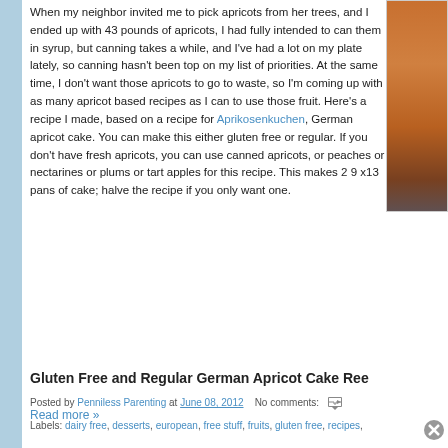When my neighbor invited me to pick apricots from her trees, and I ended up with 43 pounds of apricots, I had fully intended to can them in syrup, but canning takes a while, and I've had a lot on my plate lately, so canning hasn't been top on my list of priorities. At the same time, I don't want those apricots to go to waste, so I'm coming up with as many apricot based recipes as I can to use those fruit. Here's a recipe I made, based on a recipe for Aprikosenkuchen, German apricot cake. You can make this either gluten free or regular. If you don't have fresh apricots, you can use canned apricots, or peaches or nectarines or plums or tart apples for this recipe. This makes 2 9 x13 pans of cake; halve the recipe if you only want one.
[Figure (photo): Photo of apricot cake, golden/orange colored baked goods]
Gluten Free and Regular German Apricot Cake Re...
Read more »
Posted by Penniless Parenting at June 08, 2012   No comments:
Labels: dairy free, desserts, european, free stuff, fruits, gluten free, recipes,